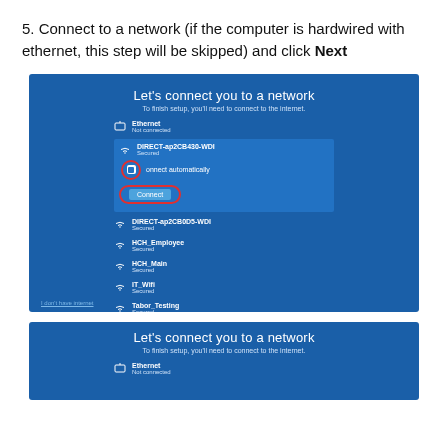5. Connect to a network (if the computer is hardwired with ethernet, this step will be skipped) and click Next
[Figure (screenshot): Windows 10 setup screen 'Let's connect you to a network' showing a list of WiFi networks. DIRECT-ap2CB430-WDI is selected (expanded) with a checkbox 'Connect automatically' circled in red and a 'Connect' button circled in red. Other networks: DIRECT-ap2CB0D5-WDI, HCH_Employee, HCH_Main, IT_Wifi, Tabor_Testing all listed as Secured. Ethernet shown as Not connected.]
[Figure (screenshot): Partial second screenshot of Windows 10 'Let's connect you to a network' screen showing title and Ethernet Not connected item at the bottom.]